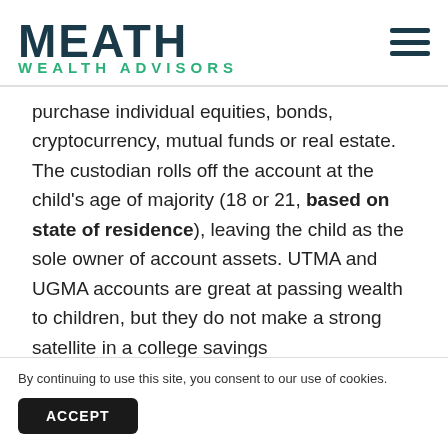[Figure (logo): Meath Wealth Advisors logo with dark navy MEATH text and green WEALTH ADVISORS subtitle, plus hamburger menu icon on the right]
purchase individual equities, bonds, cryptocurrency, mutual funds or real estate. The custodian rolls off the account at the child's age of majority (18 or 21, based on state of residence), leaving the child as the sole owner of account assets. UTMA and UGMA accounts are great at passing wealth to children, but they do not make a strong satellite in a college savings ...UTMA/UGMA accounts...
By continuing to use this site, you consent to our use of cookies.
ACCEPT